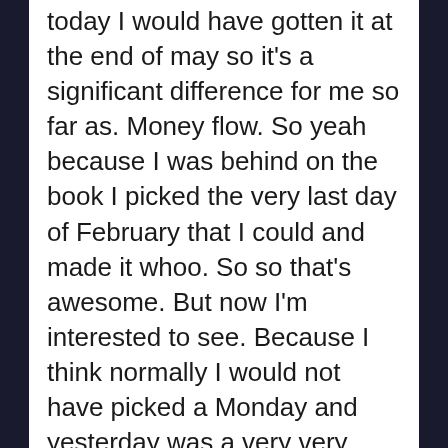today I would have gotten it at the end of may so it's a significant difference for me so far as. Money flow. So yeah because I was behind on the book I picked the very last day of February that I could and made it whoo. So so that's awesome. But now I'm interested to see. Because I think normally I would not have picked a Monday and yesterday was a very very quiet day I know a lot of people are staying off of social media because of the war in Ukraine. Um, it's just it's been a lot and the people who are online are paying attention to that and not to other things. So yesterday felt very quiet as far as release days go but I've noticed already today I've noticed already today that there have been some more people popping up and congratulating me on